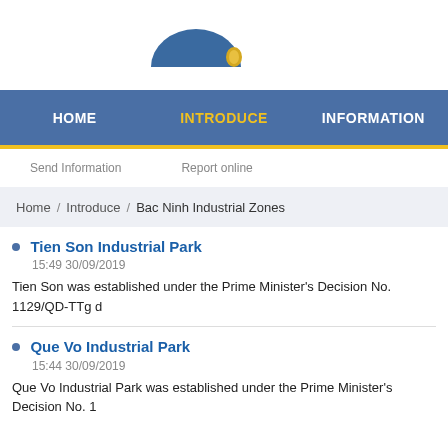[Figure (logo): Bac Ninh government website logo with blue dome/arch shape and small emblem icon]
HOME   INTRODUCE   INFORMATION
Send Information   Report online
Home / Introduce / Bac Ninh Industrial Zones
Tien Son Industrial Park
15:49 30/09/2019
Tien Son was established under the Prime Minister's Decision No. 1129/QD-TTg d
Que Vo Industrial Park
15:44 30/09/2019
Que Vo Industrial Park was established under the Prime Minister's Decision No. 1